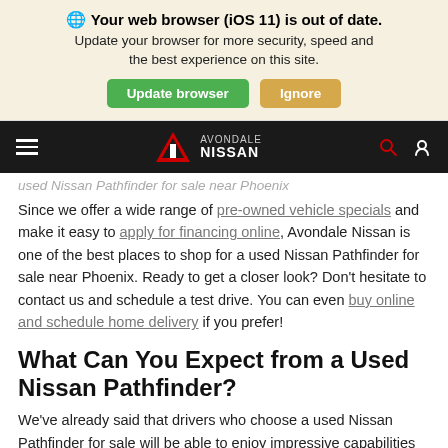🌐 Your web browser (iOS 11) is out of date. Update your browser for more security, speed and the best experience on this site. [Update browser] [Ignore]
[Figure (screenshot): Avondale Nissan navigation bar with hamburger menu, logo, search and location icons on dark background]
Since we offer a wide range of pre-owned vehicle specials and make it easy to apply for financing online, Avondale Nissan is one of the best places to shop for a used Nissan Pathfinder for sale near Phoenix. Ready to get a closer look? Don't hesitate to contact us and schedule a test drive. You can even buy online and schedule home delivery if you prefer!
What Can You Expect from a Used Nissan Pathfinder?
We've already said that drivers who choose a used Nissan Pathfinder for sale will be able to enjoy impressive capabilities and a wide range of equally impressive features—but what exactly